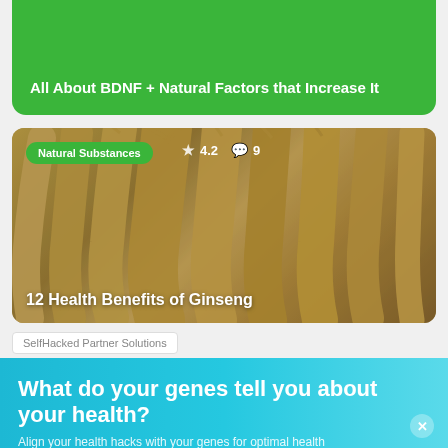All About BDNF + Natural Factors that Increase It
[Figure (photo): Photo of ginseng roots arranged on a dark surface, with a green badge labeled 'Natural Substances', a star rating of 4.2, and a comment count of 9. Title overlay reads '12 Health Benefits of Ginseng'.]
Natural Substances  ★ 4.2  💬 9
12 Health Benefits of Ginseng
SelfHacked Partner Solutions
What do your genes tell you about your health?
Align your health hacks with your genes for optimal health